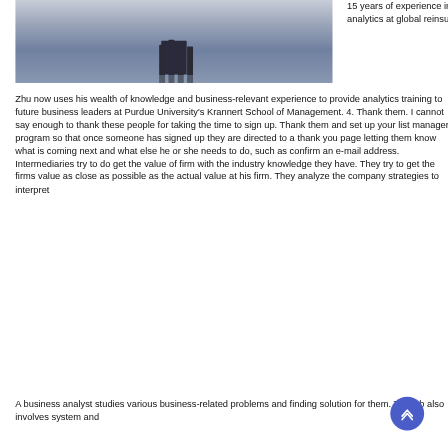[Figure (photo): Indoor photo showing dark silhouette figures standing on a reflective floor surface, viewed from a distance. The floor has a blue-gray reflective quality.]
15 years of experience in business analytics at global reinsurance...
Zhu now uses his wealth of knowledge and business-relevant experience to provide analytics training to future business leaders at Purdue University's Krannert School of Management. 4. Thank them. I cannot say enough to thank these people for taking the time to sign up. Thank them and set up your list manager program so that once someone has signed up they are directed to a thank you page letting them know what is coming next and what else he or she needs to do, such as confirm an e-mail address. Intermediaries try to do get the value of firm with the industry knowledge they have. They try to get the firms value as close as possible as the actual value at his firm. They analyze the company strategies to interpret...
A business analyst studies various business-related problems and finding solution for them. The job also involves system and...